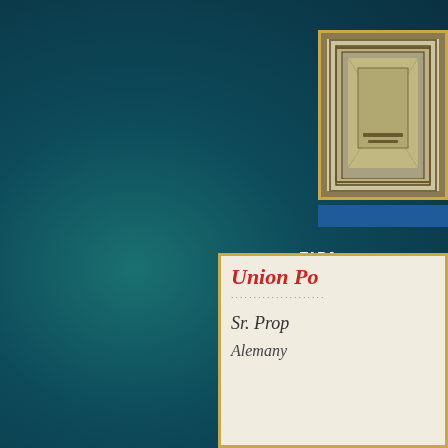[Figure (photo): Old postage stamp with decorative border pattern, yellowish-green background with ornate rectangular frame design]
TARJ ALEM PARA
[Figure (photo): Old postcard or letter showing 'Union Po...' in red italic text, with handwritten script text below in black ink on aged paper]